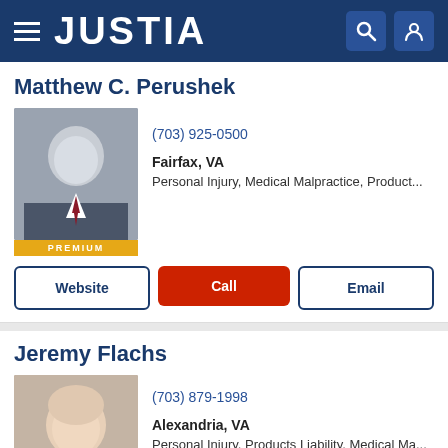JUSTIA
Matthew C. Perushek
(703) 925-0500
Fairfax, VA
Personal Injury, Medical Malpractice, Product...
Website
Call
Email
Jeremy Flachs
(703) 879-1998
Alexandria, VA
Personal Injury, Products Liability, Medical Ma...
Website
Call
Email